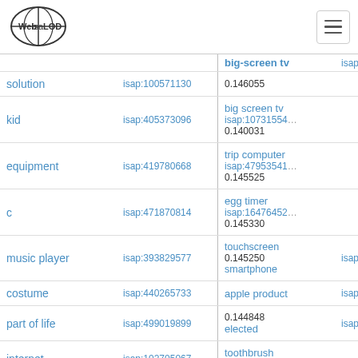Web isa LOD
| term | isap id | related term | isap id |
| --- | --- | --- | --- |
| solution | isap:100571130 | big-screen tv
0.146055 | isap:107315539 |
| kid | isap:405373096 | big screen tv
0.140031 | isap:107315543 |
| equipment | isap:419780668 | trip computer
0.145525 | isap:479535415 |
| c | isap:471870814 | egg timer
0.145330 | isap:164764528 |
| music player | isap:393829577 | touchscreen smartphone
0.145250 | isap:255120314 |
| costume | isap:440265733 | apple product | isap:266020232 |
| part of life | isap:499019899 | elected
0.144848 | isap:255877336 |
| internet | isap:102705067 | toothbrush
0.143920 |  |
| james bond film | isap:498224906 | digital cameras
samsung galaxy gear | isap:269233855
isap:308134368 |
| google | isap:386145046 | 0.143052 |  |